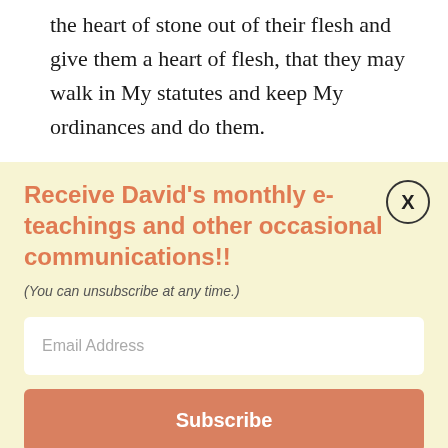the heart of stone out of their flesh and give them a heart of flesh, that they may walk in My statutes and keep My ordinances and do them.
Receive David's monthly e-teachings and other occasional communications!!
(You can unsubscribe at any time.)
Email Address
Subscribe